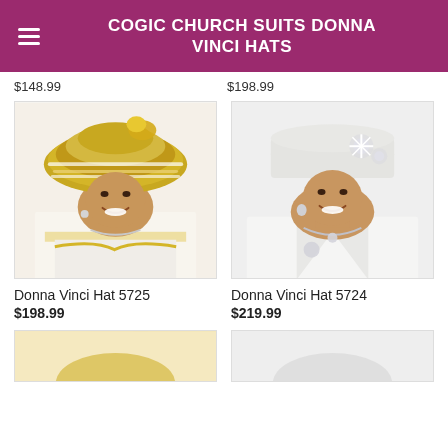COGIC CHURCH SUITS DONNA VINCI HATS
$148.99   $198.99
[Figure (photo): Woman wearing ornate gold beaded and rhinestone church hat, style Donna Vinci Hat 5725, with white and gold embellished outfit]
Donna Vinci Hat 5725
$198.99
[Figure (photo): Woman wearing white rhinestone pillbox church hat with brooch, style Donna Vinci Hat 5724, with white suit and diamond jewelry]
Donna Vinci Hat 5724
$219.99
[Figure (photo): Partial view of additional product at bottom left]
[Figure (photo): Partial view of additional product at bottom right]